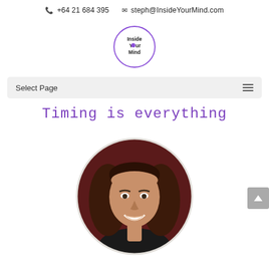+64 21 684 395  steph@InsideYourMind.com
[Figure (logo): Inside Your Mind circular logo with purple border and text 'Inside Your Mind' with a purple dot as the 'o' in Your]
Select Page
Timing is everything
[Figure (photo): Circular portrait photo of a woman with long dark hair, smiling, wearing dark clothing, against a dark red/maroon background]